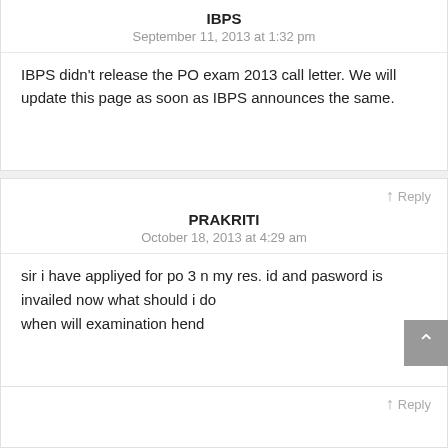IBPS
September 11, 2013 at 1:32 pm
IBPS didn't release the PO exam 2013 call letter. We will update this page as soon as IBPS announces the same.
↑ Reply
PRAKRITI
October 18, 2013 at 4:29 am
sir i have appliyed for po 3 n my res. id and pasword is invailed now what should i do
when will examination hend
↑ Reply